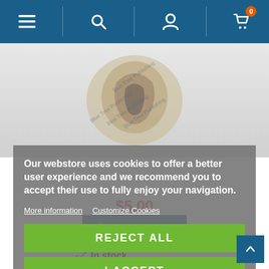[Figure (screenshot): Top navigation bar with hamburger menu, search icon, user icon, and cart icon with badge showing 0]
[Figure (photo): Medical anatomical illustration of the thyroid/larynx area with Blue Tree Publishing watermark]
Our webstore uses cookies to offer a better user experience and we recommend you to accept their use to fully enjoy your navigation.
More information   Customize Cookies
REJECT ALL
I ACCEPT
$5.00
Add to cart
In stock